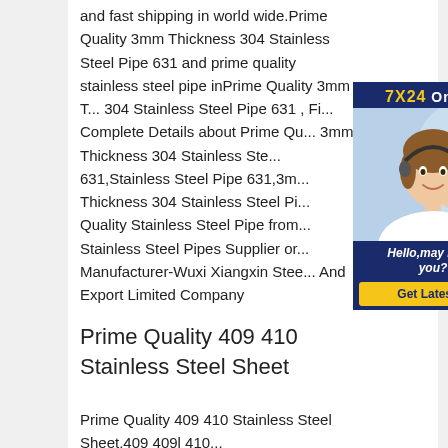and fast shipping in world wide.Prime Quality 3mm Thickness 304 Stainless Steel Pipe 631 and prime quality stainless steel pipe inPrime Quality 3mm Thickness 304 Stainless Steel Pipe 631 , Find Complete Details about Prime Quality 3mm Thickness 304 Stainless Steel Pipe 631,Stainless Steel Pipe 631,3mm Thickness 304 Stainless Steel Pipe,Prime Quality Stainless Steel Pipe from Stainless Steel Pipes Supplier or Manufacturer-Wuxi Xiangxin Steel And Export Limited Company
[Figure (photo): Customer service chat widget with '7X24 Online' header in blue and gold, photo of a woman with headset, 'Hello, may I help you?' text, and 'Get Latest Price' yellow button]
Prime Quality 409 410 Stainless Steel Sheet
Prime Quality 409 410 Stainless Steel Sheet,409 409l 410...